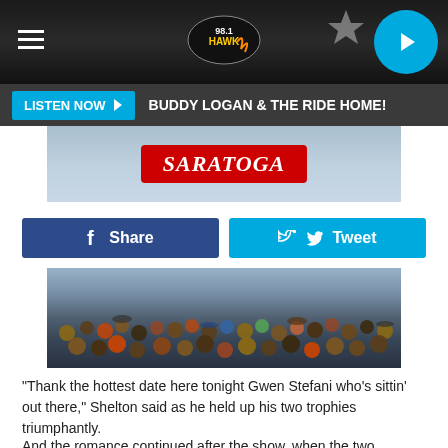98.1 The Hawk — LISTEN NOW ▶ BUDDY LOGAN & THE RIDE HOME!
[Figure (photo): Saratoga sign/banner on a light blue sky background]
[Figure (photo): Large crowd of people gathered outdoors at a concert or event]
"Thank the hottest date here tonight Gwen Stefani who's sittin' out there," Shelton said as he held up his two trophies triumphantly.
And the romance continued after the show, when the two